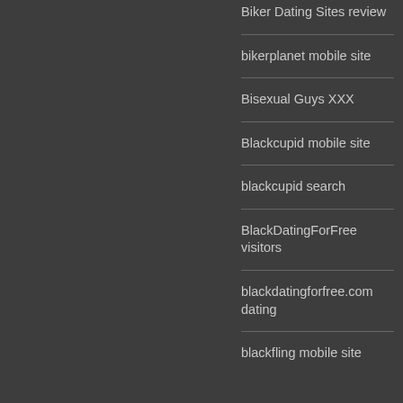Biker Dating Sites review
bikerplanet mobile site
Bisexual Guys XXX
Blackcupid mobile site
blackcupid search
BlackDatingForFree visitors
blackdatingforfree.com dating
blackfling mobile site